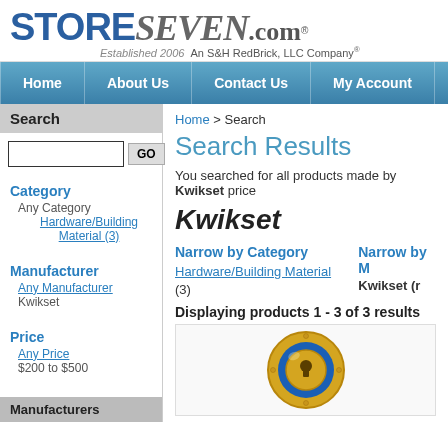[Figure (logo): StoreSevencom logo with tagline Established 2006 An S&H RedBrick LLC Company]
Home | About Us | Contact Us | My Account
Search
Category
Any Category
Hardware/Building Material (3)
Manufacturer
Any Manufacturer
Kwikset
Price
Any Price
$200 to $500
Home > Search
Search Results
You searched for all products made by Kwikset price
[Figure (logo): Kwikset logo in bold italic]
Narrow by Category
Hardware/Building Material (3)
Narrow by M
Kwikset (r
Displaying products 1 - 3 of 3 results
[Figure (photo): Kwikset door lock/deadbolt product image - circular gold/brass lock with blue ring]
Manufacturers